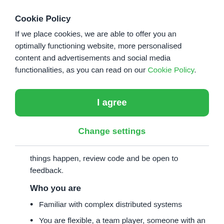Cookie Policy
If we place cookies, we are able to offer you an optimally functioning website, more personalised content and advertisements and social media functionalities, as you can read on our Cookie Policy.
[Figure (other): Green 'I agree' button]
Change settings
things happen, review code and be open to feedback.
Who you are
Familiar with complex distributed systems
You are flexible, a team player, someone with an eye for detail